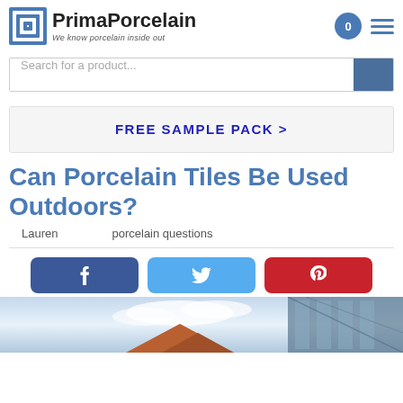[Figure (logo): PrimaPorcelain logo with square spiral icon and tagline 'We know porcelain inside out']
Search for a product...
FREE SAMPLE PACK >
Can Porcelain Tiles Be Used Outdoors?
Lauren    porcelain questions
[Figure (screenshot): Social share buttons: Facebook (dark blue, f icon), Twitter (light blue, bird icon), Pinterest (red, P icon)]
[Figure (photo): Partial outdoor building/roofline photo against cloudy sky]